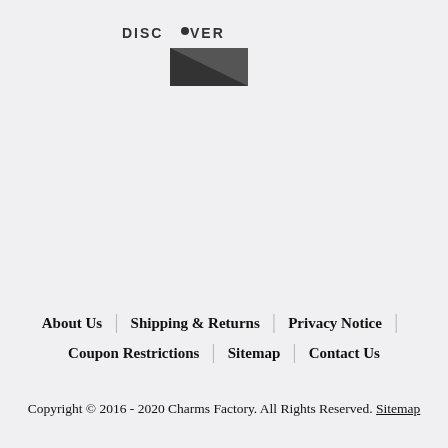[Figure (logo): Discover card logo with text DISCOVER and a dark triangular graphic below]
About Us | Shipping & Returns | Privacy Notice | Coupon Restrictions | Sitemap | Contact Us
Copyright © 2016 - 2020 Charms Factory. All Rights Reserved. Sitemap
[Figure (illustration): Row of four social media icon circles: Facebook (blue-purple), Twitter (light blue), Instagram (dark red), Pinterest (red)]